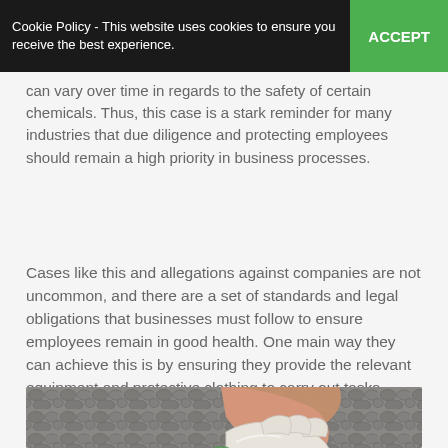Cookie Policy - This website uses cookies to ensure you receive the best experience.
can vary over time in regards to the safety of certain chemicals. Thus, this case is a stark reminder for many industries that due diligence and protecting employees should remain a high priority in business processes.
Cases like this and allegations against companies are not uncommon, and there are a set of standards and legal obligations that businesses must follow to ensure employees remain in good health. One main way they can achieve this is by ensuring they provide the relevant equipment and protective clothing to carry out tasks.
[Figure (photo): A person wearing protective gloves — one white latex glove and one green protective glove — reaching down toward cobblestone pavement.]